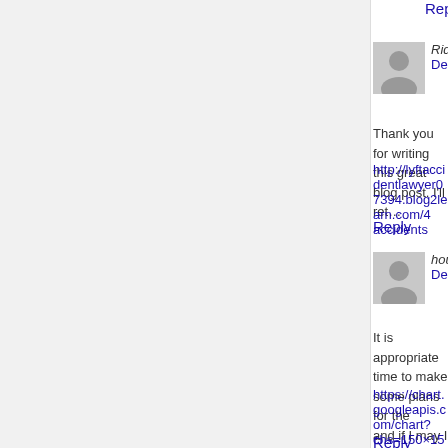Reply
Rideshare Accident Attorney says:
December 31, 2020 at 3:30 pm
Thank you for writing this great blog post. I'll ret…
http://lyftaccidentlawyer07394.blog2learn.com/4…accidents
Reply
hour driving course near Port Aransas Tex…
December 31, 2020 at 8:51 pm
It is appropriate time to make some plans for the… and if I may I wish to suggest you some fascinat… articles relating to this article. I wish to read mor…
https://chart.googleapis.com/chart?chs=150×150&cht=qr&chl=https://www.driverse…tx/?six
Reply
sildenafil citrate gnc says:
December 31, 2020 at 9:25 pm